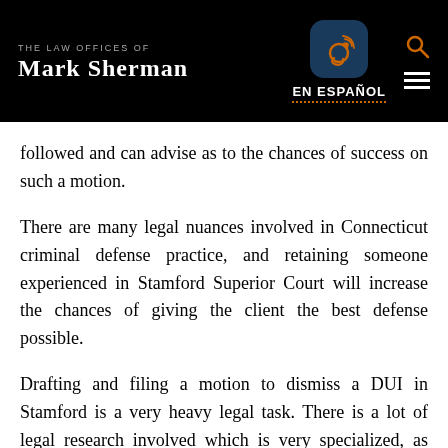THE LAW OFFICES OF MARK SHERMAN | EN ESPAÑOL
followed and can advise as to the chances of success on such a motion.
There are many legal nuances involved in Connecticut criminal defense practice, and retaining someone experienced in Stamford Superior Court will increase the chances of giving the client the best defense possible.
Drafting and filing a motion to dismiss a DUI in Stamford is a very heavy legal task. There is a lot of legal research involved which is very specialized, as well as understanding and analyzing case law, and presenting it in